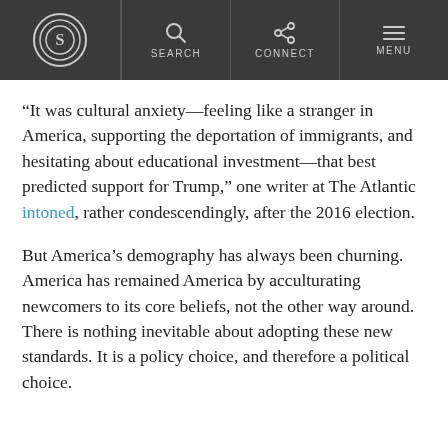SEARCH  CONNECT  MENU
“It was cultural anxiety—feeling like a stranger in America, supporting the deportation of immigrants, and hesitating about educational investment—that best predicted support for Trump,” one writer at The Atlantic intoned, rather condescendingly, after the 2016 election.
But America’s demography has always been churning. America has remained America by acculturating newcomers to its core beliefs, not the other way around. There is nothing inevitable about adopting these new standards. It is a policy choice, and therefore a political choice.